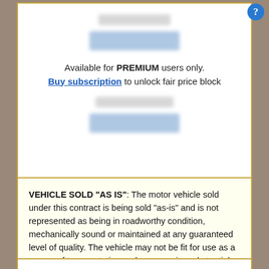[Figure (screenshot): Blurred premium pricing block with label and blue price bars obscured]
Available for PREMIUM users only. Buy subscription to unlock fair price block
VEHICLE SOLD "AS IS": The motor vehicle sold under this contract is being sold "as-is" and is not represented as being in roadworthy condition, mechanically sound or maintained at any guaranteed level of quality. The vehicle may not be fit for use as a means of transportation and may require substantial repairs at the purchaser's expense. It may not be possible to register the vehicle to be driven in its current condition.